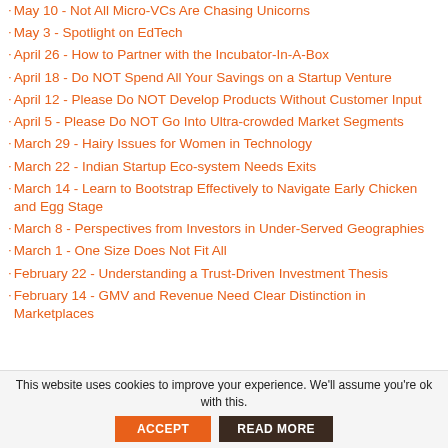May 10 - Not All Micro-VCs Are Chasing Unicorns
May 3 - Spotlight on EdTech
April 26 - How to Partner with the Incubator-In-A-Box
April 18 - Do NOT Spend All Your Savings on a Startup Venture
April 12 - Please Do NOT Develop Products Without Customer Input
April 5 - Please Do NOT Go Into Ultra-crowded Market Segments
March 29 - Hairy Issues for Women in Technology
March 22 - Indian Startup Eco-system Needs Exits
March 14 - Learn to Bootstrap Effectively to Navigate Early Chicken and Egg Stage
March 8 - Perspectives from Investors in Under-Served Geographies
March 1 - One Size Does Not Fit All
February 22 - Understanding a Trust-Driven Investment Thesis
February 14 - GMV and Revenue Need Clear Distinction in Marketplaces
This website uses cookies to improve your experience. We'll assume you're ok with this.
ACCEPT
READ MORE